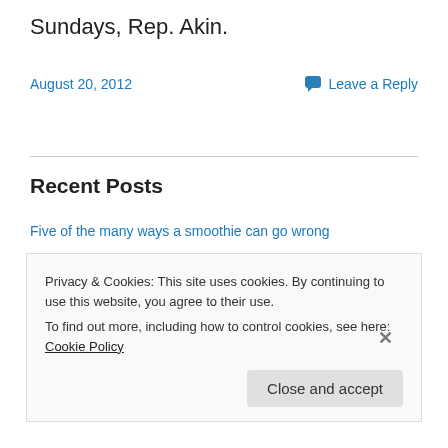Sundays, Rep. Akin.
August 20, 2012
Leave a Reply
Recent Posts
Five of the many ways a smoothie can go wrong
Campus Cops vs. University Professors
All Politics Is Local: Jon Hoadley for State Representative, 60th District
College Presidents Selling Out to Gov. Rick Snyder?
The Vernacular of Privilege
Privacy & Cookies: This site uses cookies. By continuing to use this website, you agree to their use.
To find out more, including how to control cookies, see here: Cookie Policy
Close and accept